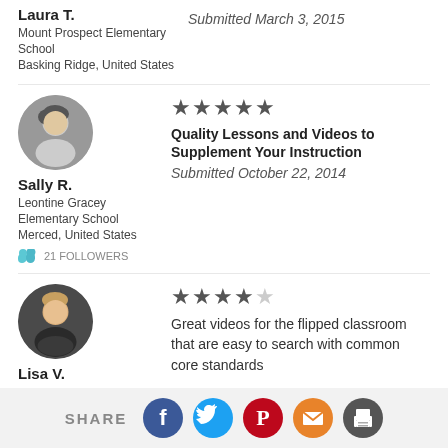Laura T.
Mount Prospect Elementary School
Basking Ridge, United States
Submitted March 3, 2015
[Figure (photo): Profile photo of Sally R., woman with short hair, black and white]
★★★★★
Quality Lessons and Videos to Supplement Your Instruction
Submitted October 22, 2014
Sally R.
Leontine Gracey Elementary School
Merced, United States
21 FOLLOWERS
[Figure (photo): Profile photo of Lisa V., woman with blonde hair, color photo]
★★★★☆
Great videos for the flipped classroom that are easy to search with common core standards
Lisa V.